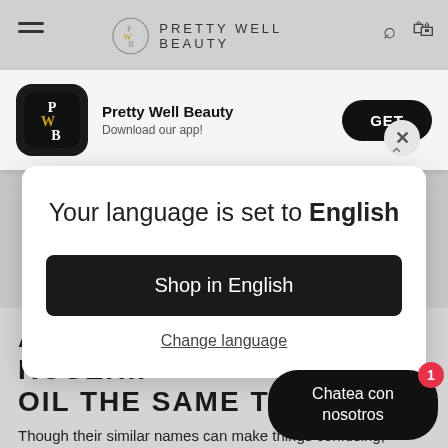[Figure (screenshot): Pretty Well Beauty website header with hamburger menu, logo, search and cart icons on grey background]
[Figure (screenshot): App download banner showing Pretty Well Beauty app icon, name, tagline 'Download our app!' and GET button]
Your language is set to English
Shop in English
Change language
ARE ROSE OIL AND ROSEHIP OIL THE SAME THING
Though their similar names can make things confusing,
Chatea con nosotros